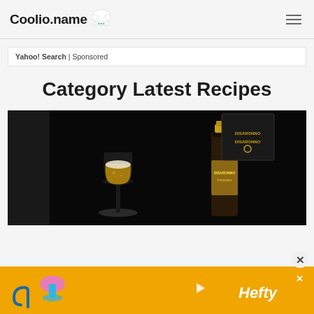Coolio.name
Yahoo! Search | Sponsored
Category Latest Recipes
[Figure (photo): A champagne flute with bubbly drink next to a Disaronno bottle with black box packaging, on a dark black background]
[Figure (photo): Bottom advertisement banner with orange background, Hefty logo, decorative elements including a mushroom-like object and a hook/hanger shape]